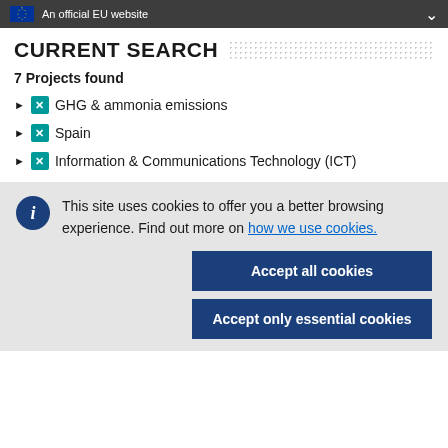An official EU website
CURRENT SEARCH
7 Projects found
GHG & ammonia emissions
Spain
Information & Communications Technology (ICT)
This site uses cookies to offer you a better browsing experience. Find out more on how we use cookies.